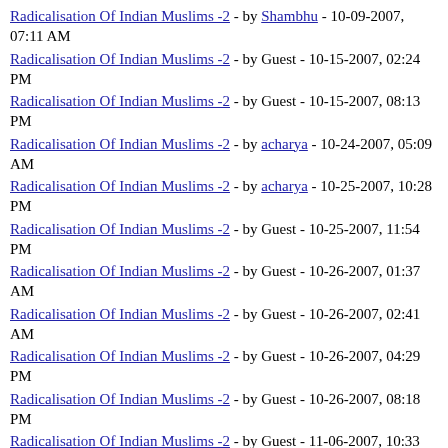Radicalisation Of Indian Muslims -2 - by Shambhu - 10-09-2007, 07:11 AM
Radicalisation Of Indian Muslims -2 - by Guest - 10-15-2007, 02:24 PM
Radicalisation Of Indian Muslims -2 - by Guest - 10-15-2007, 08:13 PM
Radicalisation Of Indian Muslims -2 - by acharya - 10-24-2007, 05:09 AM
Radicalisation Of Indian Muslims -2 - by acharya - 10-25-2007, 10:28 PM
Radicalisation Of Indian Muslims -2 - by Guest - 10-25-2007, 11:54 PM
Radicalisation Of Indian Muslims -2 - by Guest - 10-26-2007, 01:37 AM
Radicalisation Of Indian Muslims -2 - by Guest - 10-26-2007, 02:41 AM
Radicalisation Of Indian Muslims -2 - by Guest - 10-26-2007, 04:29 PM
Radicalisation Of Indian Muslims -2 - by Guest - 10-26-2007, 08:18 PM
Radicalisation Of Indian Muslims -2 - by Guest - 11-06-2007, 10:33 PM
Radicalisation Of Indian Muslims -2 - by Guest - 11-12-2007, 09:00 PM
Radicalisation Of Indian Muslims -2 - by Guest - 11-27-2007,